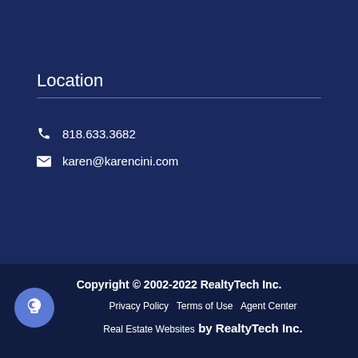Location
818.633.3682
karen@karencini.com
Copyright © 2002-2022 RealtyTech Inc.
Privacy Policy   Terms of Use   Agent Center
Real Estate Websites by RealtyTech Inc.